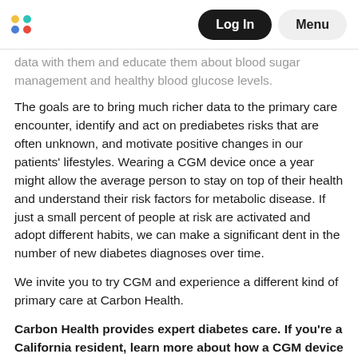Log In | Menu
data with them and educate them about blood sugar management and healthy blood glucose levels.
The goals are to bring much richer data to the primary care encounter, identify and act on prediabetes risks that are often unknown, and motivate positive changes in our patients' lifestyles. Wearing a CGM device once a year might allow the average person to stay on top of their health and understand their risk factors for metabolic disease. If just a small percent of people at risk are activated and adopt different habits, we can make a significant dent in the number of new diabetes diagnoses over time.
We invite you to try CGM and experience a different kind of primary care at Carbon Health.
Carbon Health provides expert diabetes care. If you're a California resident, learn more about how a CGM device can help you better manage diabetes from the comfort of home. Schedule a free 15-minute eligibility check.